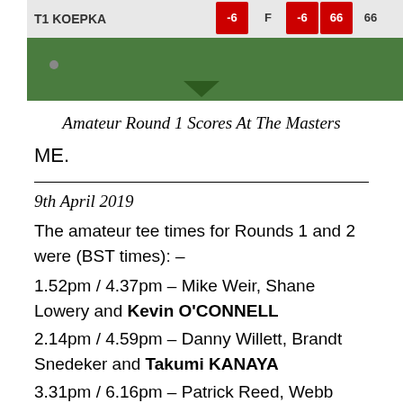[Figure (screenshot): Screenshot of a golf leaderboard showing player T1 KOEPKA with score -6, F, -6, 66, 66]
Amateur Round 1 Scores At The Masters
ME.
9th April 2019
The amateur tee times for Rounds 1 and 2 were (BST times): –
1.52pm / 4.37pm – Mike Weir, Shane Lowery and Kevin O'CONNELL
2.14pm / 4.59pm – Danny Willett, Brandt Snedeker and Takumi KANAYA
3.31pm / 6.16pm – Patrick Reed, Webb Simpson